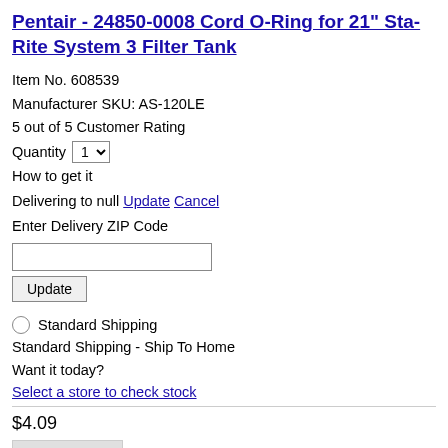Pentair - 24850-0008 Cord O-Ring for 21" Sta-Rite System 3 Filter Tank
Item No. 608539
Manufacturer SKU: AS-120LE
5 out of 5 Customer Rating
Quantity 1
How to get it
Delivering to null Update Cancel
Enter Delivery ZIP Code
Update
Standard Shipping
Standard Shipping - Ship To Home
Want it today?
Select a store to check stock
$4.09
Add to Cart